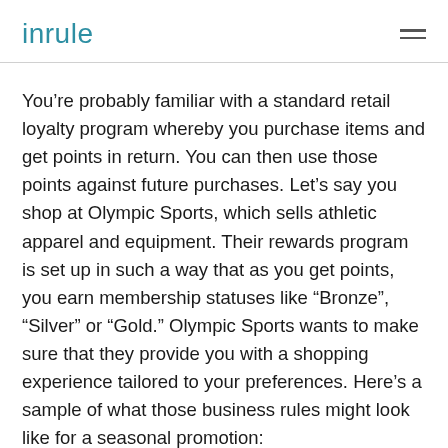inrule
You’re probably familiar with a standard retail loyalty program whereby you purchase items and get points in return. You can then use those points against future purchases. Let’s say you shop at Olympic Sports, which sells athletic apparel and equipment. Their rewards program is set up in such a way that as you get points, you earn membership statuses like “Bronze”, “Silver” or “Gold.” Olympic Sports wants to make sure that they provide you with a shopping experience tailored to your preferences. Here’s a sample of what those business rules might look like for a seasonal promotion: